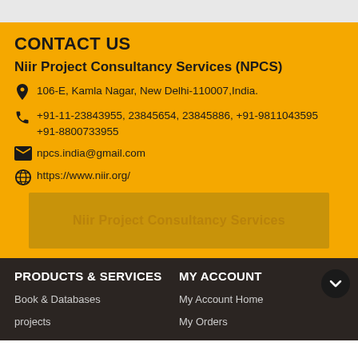CONTACT US
Niir Project Consultancy Services (NPCS)
106-E, Kamla Nagar, New Delhi-110007,India.
+91-11-23843955, 23845654, 23845886, +91-9811043595 +91-8800733955
npcs.india@gmail.com
https://www.niir.org/
[Figure (other): Banner with text: Niir Project Consultancy Services]
PRODUCTS & SERVICES
MY ACCOUNT
Book & Databases
projects
My Account Home
My Orders